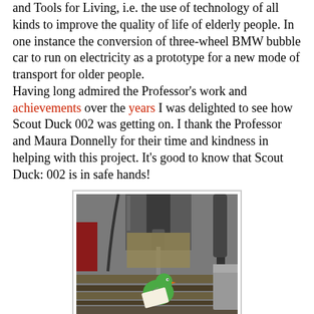and Tools for Living, i.e. the use of technology of all kinds to improve the quality of life of elderly people. In one instance the conversion of three-wheel BMW bubble car to run on electricity as a prototype for a new mode of transport for older people.
Having long admired the Professor's work and achievements over the years I was delighted to see how Scout Duck 002 was getting on. I thank the Professor and Maura Donnelly for their time and kindness in helping with this project. It's good to know that Scout Duck: 002 is in safe hands!
[Figure (photo): A green rubber duck with a tag around its neck sitting on a milling machine/drill press bed, with a large drill bit above it.]